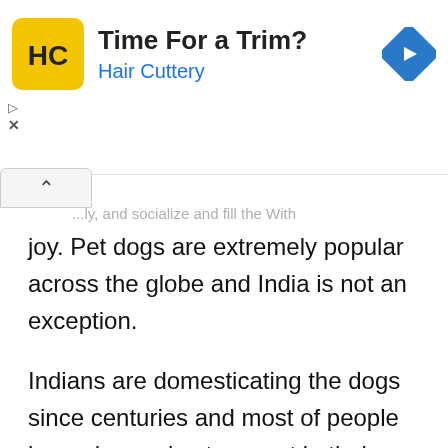[Figure (illustration): Advertisement banner for Hair Cuttery with yellow HC logo, bold text 'Time For a Trim?', blue text 'Hair Cuttery', a blue diamond navigation arrow icon, and ad controls (play triangle and X button).]
...ly, and socialize and fill the With joy. Pet dogs are extremely popular across the globe and India is not an exception.
Indians are domesticating the dogs since centuries and most of people have dog and cats as pet in their home. But the popularity of dogs is growing in India and many people are keen on having one.